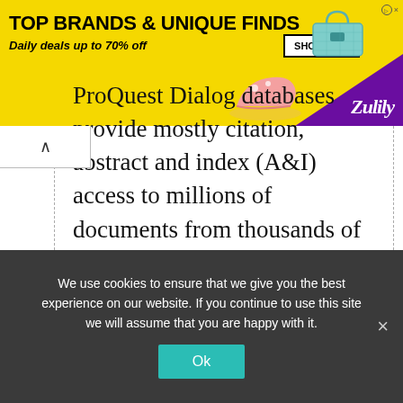[Figure (illustration): Yellow Zulily advertisement banner: 'TOP BRANDS & UNIQUE FINDS - Daily deals up to 70% off' with SHOP NOW button, shoe and purse graphics, purple diagonal section with Zulily logo]
ProQuest Dialog databases provide mostly citation, abstract and index (A&I) access to millions of documents from thousands of sources, covering research areas …
We use cookies to ensure that we give you the best experience on our website. If you continue to use this site we will assume that you are happy with it.